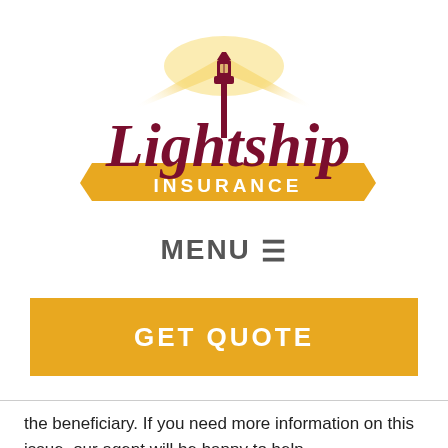[Figure (logo): Lightship Insurance logo with lighthouse lantern emitting golden light beams, dark red serif text 'Lightship' above a gold banner ribbon with 'INSURANCE' in spaced caps]
MENU ☰
GET QUOTE
the beneficiary. If you need more information on this issue, our agent will be happy to help.